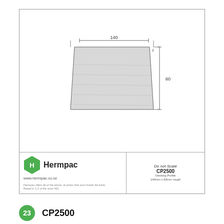[Figure (engineering-diagram): Technical cross-section drawing of CP2500 Watershed Decking profile (140mm x 60mm). Shows a trapezoidal/rectangular timber profile with dimension lines indicating width (~140mm) at the top and height (~60mm) on the right side. The profile has a slightly wider top than bottom. Includes Hermpac branding footer with hexagon logo, website www.hermpac.co.nz, and title block showing 'Do not Scale', 'CP2500', and product description.]
23
CP2500
140mm x 60mm
Watershed Decking